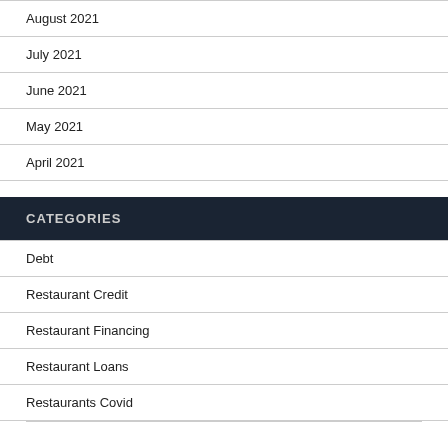August 2021
July 2021
June 2021
May 2021
April 2021
CATEGORIES
Debt
Restaurant Credit
Restaurant Financing
Restaurant Loans
Restaurants Covid